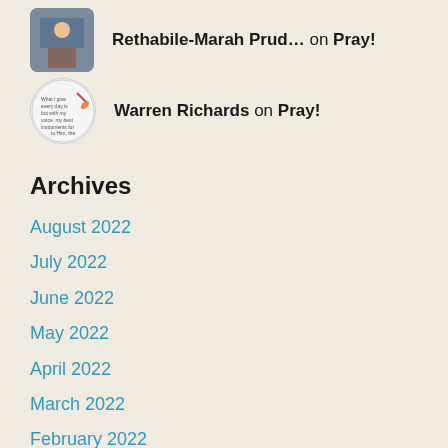Rethabile-Marah Prud… on Pray!
Warren Richards on Pray!
Archives
August 2022
July 2022
June 2022
May 2022
April 2022
March 2022
February 2022
January 2022